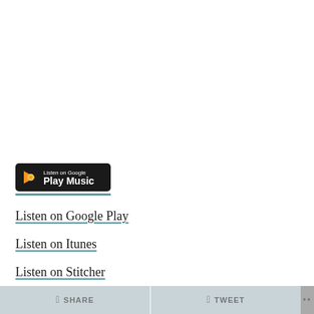[Figure (logo): Listen on Google Play Music badge — black rounded rectangle with orange play button icon and white text]
Listen on Google Play
Listen on Itunes
Listen on Stitcher
SHARE   TWEET   ...